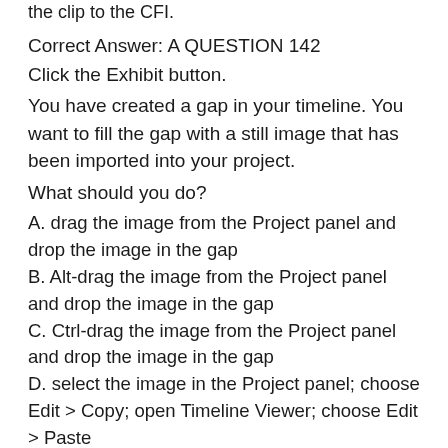the clip to the CFI.
Correct Answer: A QUESTION 142
Click the Exhibit button.
You have created a gap in your timeline. You want to fill the gap with a still image that has been imported into your project.
What should you do?
A. drag the image from the Project panel and drop the image in the gap
B. Alt-drag the image from the Project panel and drop the image in the gap
C. Ctrl-drag the image from the Project panel and drop the image in the gap
D. select the image in the Project panel; choose Edit > Copy; open Timeline Viewer; choose Edit > Paste